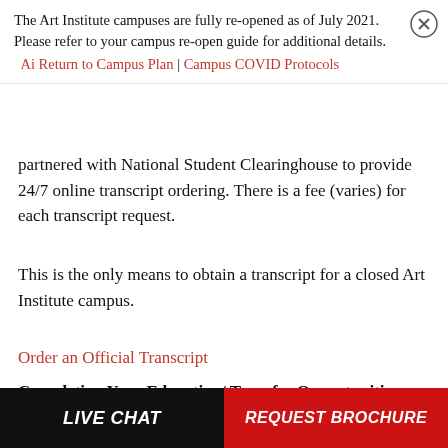The Art Institute campuses are fully re-opened as of July 2021. Please refer to your campus re-open guide for additional details.
Ai Return to Campus Plan | Campus COVID Protocols
partnered with National Student Clearinghouse to provide 24/7 online transcript ordering. There is a fee (varies) for each transcript request.
This is the only means to obtain a transcript for a closed Art Institute campus.
Order an Official Transcript
Completing Your Education/ Transfer Opportunities
LIVE CHAT | REQUEST BROCHURE